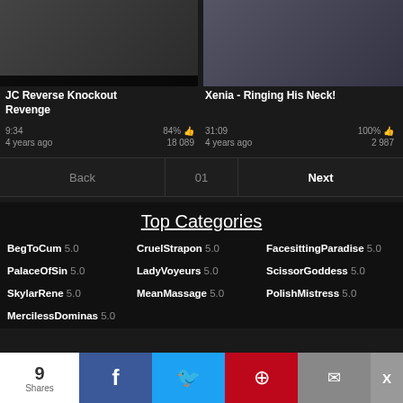[Figure (screenshot): Video thumbnail for JC Reverse Knockout Revenge]
JC Reverse Knockout Revenge
9:34 | 84% 👍 | 4 years ago | 18 089
[Figure (screenshot): Video thumbnail for Xenia - Ringing His Neck!]
Xenia - Ringing His Neck!
31:09 | 100% 👍 | 4 years ago | 2 987
Back  01  Next
Top Categories
BegToCum 5.0  CruelStrapon 5.0  FacesittingParadise 5.0  PalaceOfSin 5.0  LadyVoyeurs 5.0  ScissorGoddess 5.0  SkylarRene 5.0  MeanMassage 5.0  PolishMistress 5.0  MercilessDominas 5.0
9 Shares | Facebook | Twitter | Pinterest | Email | X